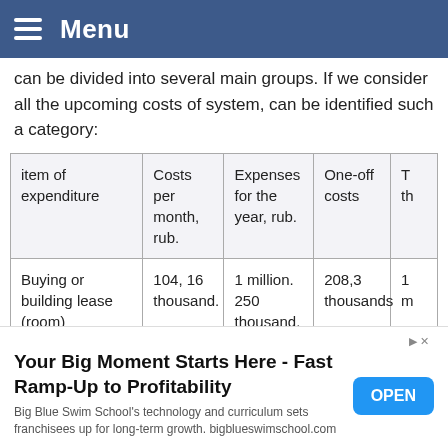Menu
can be divided into several main groups. If we consider all the upcoming costs of system, can be identified such a category:
| item of expenditure | Costs per month, rub. | Expenses for the year, rub. | One-off costs | T... th... |
| --- | --- | --- | --- | --- |
| Buying or building lease (room) | 104, 16 thousand. | 1 million. 250 thousand. | 208,3 thousands | 1 m... |
| Repairs, ... ment with |  |  |  |  |